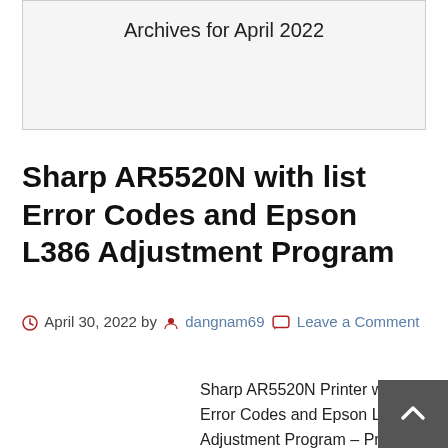Archives for April 2022
Sharp AR5520N with list Error Codes and Epson L386 Adjustment Program
April 30, 2022 by dangnam69  Leave a Comment
Sharp AR5520N Printer with list Error Codes and Epson L386 Adjustment Program – Printer model: Sharp AR5520N – Error codes on Sharp AR5520N with details instruction fixing: Code: